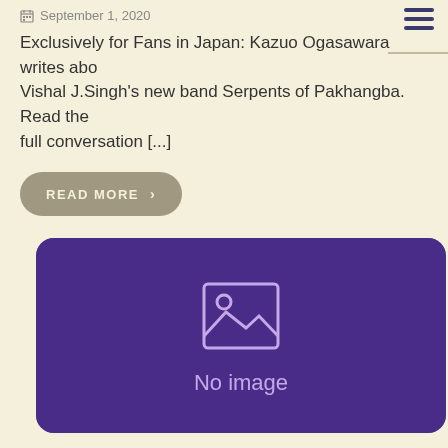September 1, 2020
Exclusively for Fans in Japan: Kazuo Ogasawara writes about Vishal J.Singh's new band Serpents of Pakhangba. Read the full conversation [...]
READ MORE ›
[Figure (illustration): Purple card with a 'No image' placeholder icon (image frame icon with mountain and sun) centered on a dark purple background with rounded corners.]
Seven Plus One – Soundtrack Collaboration